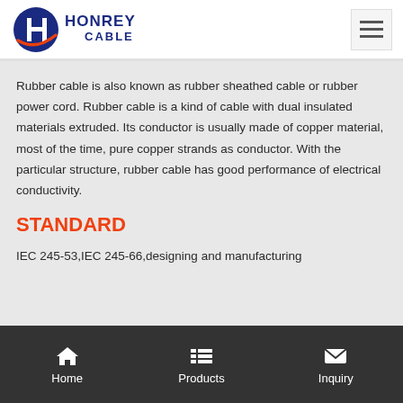[Figure (logo): Honrey Cable logo with blue globe/H emblem and orange swoosh, company name in dark blue text]
Rubber cable is also known as rubber sheathed cable or rubber power cord. Rubber cable is a kind of cable with dual insulated materials extruded. Its conductor is usually made of copper material, most of the time, pure copper strands as conductor. With the particular structure, rubber cable has good performance of electrical conductivity.
STANDARD
IEC 245-53,IEC 245-66,designing and manufacturing
Home | Products | Inquiry